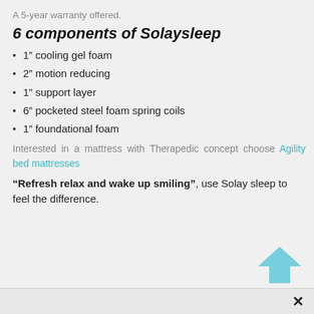A 5-year warranty offered.
6 components of Solaysleep
1” cooling gel foam
2” motion reducing
1” support layer
6” pocketed steel foam spring coils
1” foundational foam
Interested in a mattress with Therapedic concept choose Agility bed mattresses
“Refresh relax and wake up smiling”, use Solay sleep to feel the difference.